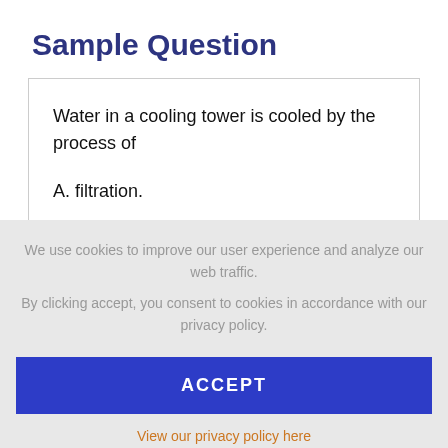Sample Question
Water in a cooling tower is cooled by the process of
A. filtration.
We use cookies to improve our user experience and analyze our web traffic. By clicking accept, you consent to cookies in accordance with our privacy policy.
ACCEPT
View our privacy policy here
Categories tested include: